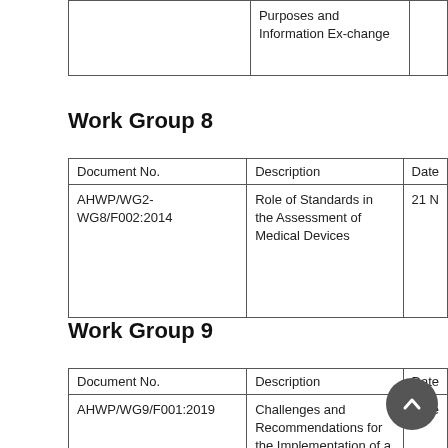| Document No. | Description | Date |
| --- | --- | --- |
|  | Purposes and Information Ex-change |  |
Work Group 8
| Document No. | Description | Date |
| --- | --- | --- |
| AHWP/WG2-WG8/F002:2014 | Role of Standards in the Assessment of Medical Devices | 21 N |
Work Group 9
| Document No. | Description | Date |
| --- | --- | --- |
| AHWP/WG9/F001:2019 | Challenges and Recommendations for the Implementation of a Globally Coordinated UDI system | 2 De |